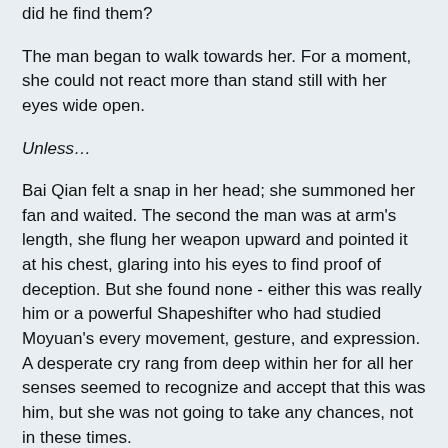did he find them?
The man began to walk towards her. For a moment, she could not react more than stand still with her eyes wide open.
Unless…
Bai Qian felt a snap in her head; she summoned her fan and waited. The second the man was at arm's length, she flung her weapon upward and pointed it at his chest, glaring into his eyes to find proof of deception. But she found none - either this was really him or a powerful Shapeshifter who had studied Moyuan's every movement, gesture, and expression. A desperate cry rang from deep within her for all her senses seemed to recognize and accept that this was him, but she was not going to take any chances, not in these times.
“What weapon did I use to tear the veil of fire at the entrance to Qingcang's cave?” Bai Qian said.